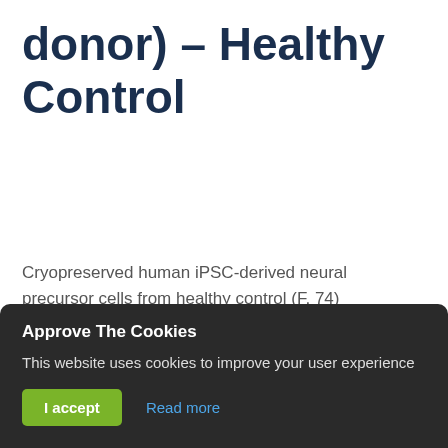donor) – Healthy Control
Cryopreserved human iPSC-derived neural precursor cells from healthy control (F, 74)
Catalog No: NP-mRNA-CW50065
Size:
Choose an Option
Approve The Cookies
This website uses cookies to improve your user experience
I accept
Read more